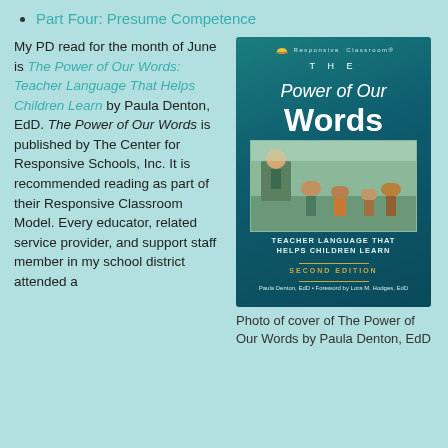Part Four: Presume Competence
My PD read for the month of June is The Power of Our Words: Teacher Language That Helps Children Learn by Paula Denton, EdD. The Power of Our Words is published by The Center for Responsive Schools, Inc. It is recommended reading as part of their Responsive Classroom Model. Every educator, related service provider, and support staff member in my school district attended a
[Figure (photo): Book cover of The Power of Our Words: Teacher Language That Helps Children Learn, Second Edition by Paula Denton, EdD, published by Responsive Classroom. Teal/dark teal cover with white title text, a classroom photo showing a teacher and students, gold subtitle text, and author information at bottom.]
Photo of cover of The Power of Our Words by Paula Denton, EdD